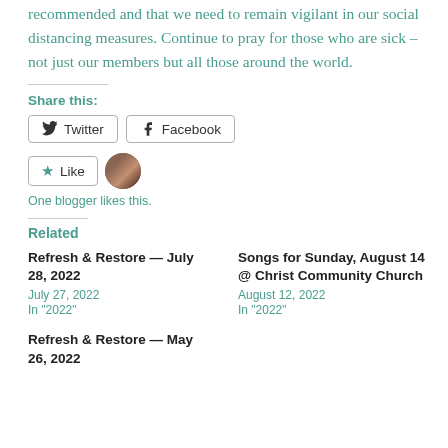recommended and that we need to remain vigilant in our social distancing measures. Continue to pray for those who are sick – not just our members but all those around the world.
Share this:
Twitter  Facebook
Like  One blogger likes this.
Related
Refresh & Restore — July 28, 2022
July 27, 2022
In "2022"
Songs for Sunday, August 14 @ Christ Community Church
August 12, 2022
In "2022"
Refresh & Restore — May 26, 2022